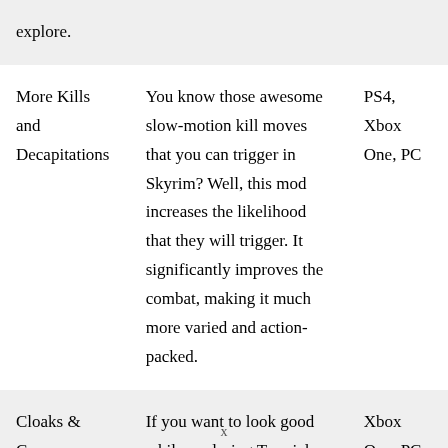| Mod Name | Description | Platform |
| --- | --- | --- |
| More Kills and Decapitations | You know those awesome slow-motion kill moves that you can trigger in Skyrim? Well, this mod increases the likelihood that they will trigger. It significantly improves the combat, making it much more varied and action-packed. | PS4, Xbox One, PC |
| Cloaks & Capes | If you want to look good while exploring Tamriel then these craftable Fur Cloaks and Linen | Xbox One, PC |